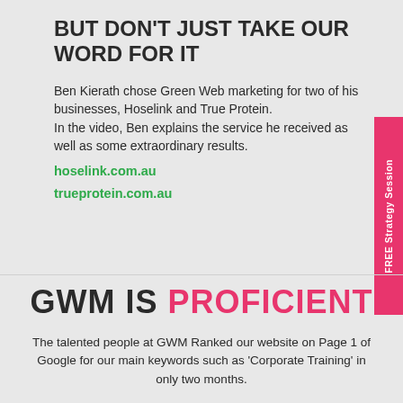BUT DON'T JUST TAKE OUR WORD FOR IT
Ben Kierath chose Green Web marketing for two of his businesses, Hoselink and True Protein.
In the video, Ben explains the service he received as well as some extraordinary results.
hoselink.com.au
trueprotein.com.au
[Figure (other): Pink vertical sidebar tab with rotated white text reading 'FREE Strategy Session']
GWM IS PROFICIENT
The talented people at GWM Ranked our website on Page 1 of Google for our main keywords such as 'Corporate Training' in only two months.